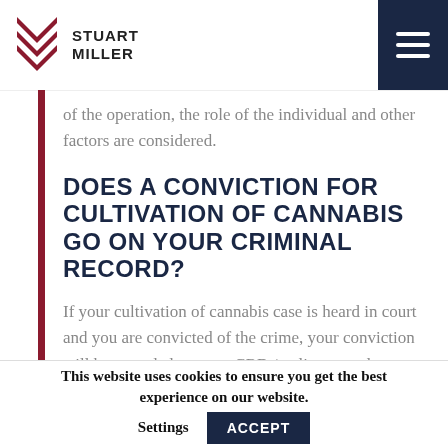Stuart Miller
of the operation, the role of the individual and other factors are considered.
DOES A CONVICTION FOR CULTIVATION OF CANNABIS GO ON YOUR CRIMINAL RECORD?
If your cultivation of cannabis case is heard in court and you are convicted of the crime, your conviction will be recorded on your CRB / police record
This website uses cookies to ensure you get the best experience on our website.
Settings
ACCEPT